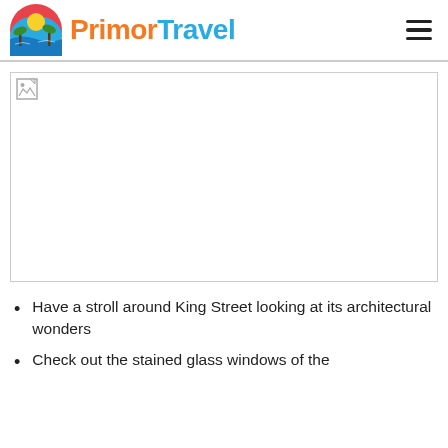PrimorTravel
[Figure (photo): Broken/unloaded image placeholder for a travel photo]
Have a stroll around King Street looking at its architectural wonders
Check out the stained glass windows of the